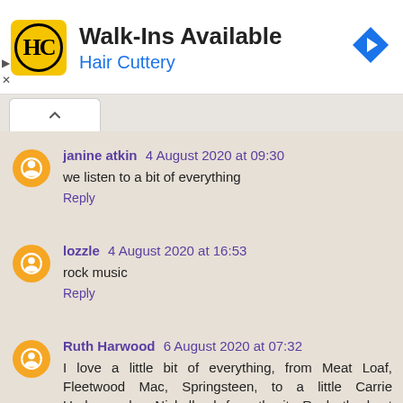[Figure (other): Hair Cuttery advertisement banner with logo, text 'Walk-Ins Available', subtitle 'Hair Cuttery', and a navigation arrow icon]
janine atkin 4 August 2020 at 09:30 — we listen to a bit of everything — Reply
lozzle 4 August 2020 at 16:53 — rock music — Reply
Ruth Harwood 6 August 2020 at 07:32 — I love a little bit of everything, from Meat Loaf, Fleetwood Mac, Springsteen, to a little Carrie Underwood or Nickelback from the ite Rock, the best Country inspired...